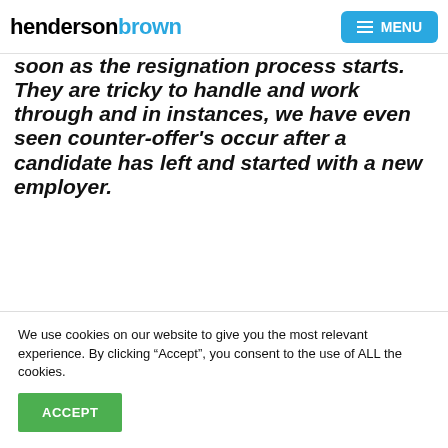henderson brown  MENU
soon as the resignation process starts. They are tricky to handle and work through and in instances, we have even seen counter-offer's occur after a candidate has left and started with a new employer.
It is
[Figure (photo): A row of grey doors along a patterned wall with one yellow/gold door standing out in the middle]
We use cookies on our website to give you the most relevant experience. By clicking “Accept”, you consent to the use of ALL the cookies.
ACCEPT